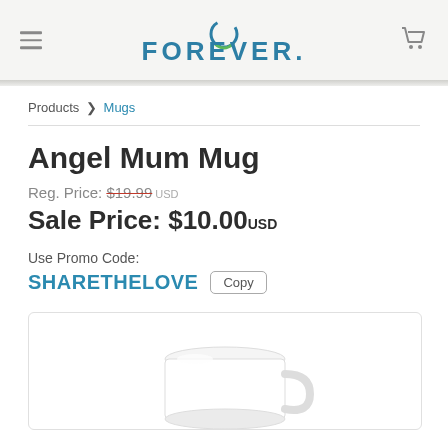FOREVER.
Products > Mugs
Angel Mum Mug
Reg. Price: $19.99 USD
Sale Price: $10.00 USD
Use Promo Code:
SHARETHELOVE  Copy
[Figure (photo): White ceramic mug product photo on white background]